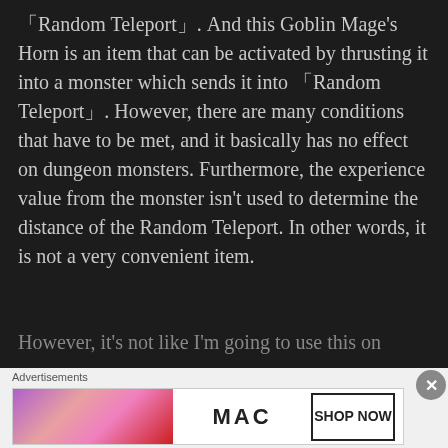「Random Teleport」. And this Goblin Mage's Horn is an item that can be activated by thrusting it into a monster which sends it into 「Random Teleport」. However, there are many conditions that have to be met, and it basically has no effect on dungeon monsters. Furthermore, the experience value from the monster isn't used to determine the distance of the Random Teleport. In other words, it is not a very convenient item.
However, it's not like I'm going to use this on
[Figure (other): MAC Cosmetics advertisement banner showing lipsticks and 'SHOP NOW' button]